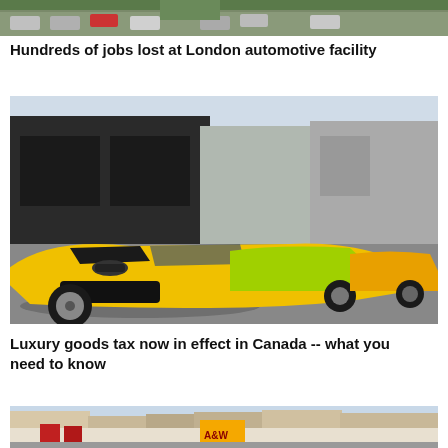[Figure (photo): Aerial view of a parking lot with cars]
Hundreds of jobs lost at London automotive facility
[Figure (photo): Close-up of a yellow Lamborghini sports car parked alongside lime green Lamborghinis at a dealership]
Luxury goods tax now in effect in Canada -- what you need to know
[Figure (photo): Street scene with commercial signs including A&W]